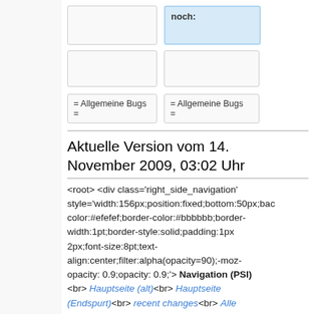[Figure (screenshot): Top partial view showing two blue/light boxes at top row and two content boxes below with text '= Allgemeine Bugs =']
Aktuelle Version vom 14. November 2009, 03:02 Uhr
<root> <div class='right_side_navigation' style='width:156px;position:fixed;bottom:50px;background-color:#efefef;border-color:#bbbbbb;border-width:1pt;border-style:solid;padding:1px 2px;font-size:8pt;text-align:center;filter:alpha(opacity=90);-moz-opacity: 0.9;opacity: 0.9;'> Navigation (PSI) <br> Hauptseite (alt)<br> Hauptseite (Endspurt)<br> recent changes<br> Alle Seiten ↗
Development<br> Endspurt<br> Dev-Talk<br> ChangeLog<br> Repository ↗<br> Global Mindset V4<br /> Szenariosammlung<br /> Projekt-Präsentation